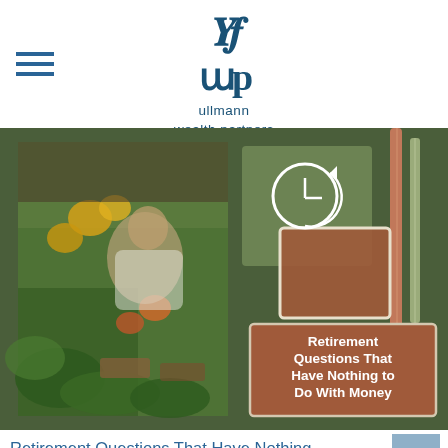ullmann wealth partners
[Figure (photo): Composite hero image: left half shows a woman tending to plants/flowers in a greenhouse or garden center; right half shows a dark olive green background with decorative squares, a clock-with-arrow icon, pencils, and a terracotta/rust colored box with bold white text reading 'Retirement Questions That Have Nothing to Do With Money']
Retirement Questions That Have Nothing to Do With Money
Things to consider before retirement.